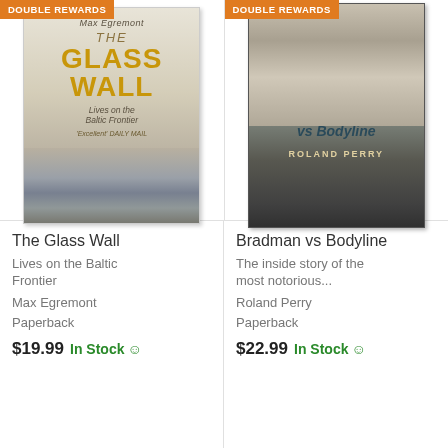[Figure (photo): Book cover of 'The Glass Wall: Lives on the Baltic Frontier' by Max Egremont with 'Double Rewards' orange badge]
[Figure (photo): Book cover of 'Bradman vs Bodyline' by Roland Perry showing a cricketer's face and cricket match, with 'Double Rewards' orange badge]
The Glass Wall
Lives on the Baltic Frontier
Max Egremont
Paperback
$19.99  In Stock
Bradman vs Bodyline
The inside story of the most notorious...
Roland Perry
Paperback
$22.99  In Stock